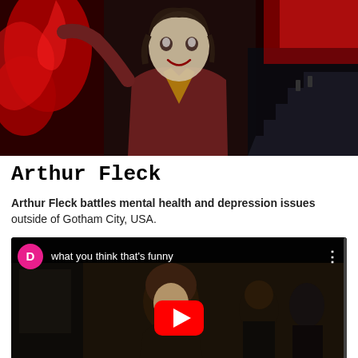[Figure (photo): Joker character (Arthur Fleck) in red and dark dramatic movie poster style image, character in brownish-red suit with clown makeup, red background with staircase scene]
Arthur Fleck
Arthur Fleck battles mental health and depression issues outside of Gotham City, USA.
[Figure (screenshot): YouTube video thumbnail showing Arthur Fleck on a subway train, with comment overlay reading 'what you think that's funny', pink avatar circle with letter D, YouTube play button overlay]